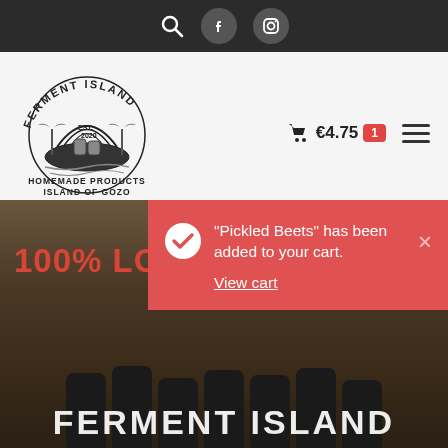Search, Facebook, Instagram icons navigation bar
[Figure (logo): Ferment Island logo — circular illustration of an island with fermenting vessels and palm trees, text 'FERMENT ISLAND EST. 2020', 'HOMEMADE PRODUCTS ISLAND OF GOZO']
€4.75  [cart icon]  1  [hamburger menu]
"Pickled Beets" has been added to your cart.
View cart
100% LOCAL PRODUCTS
FERMENT ISLAND